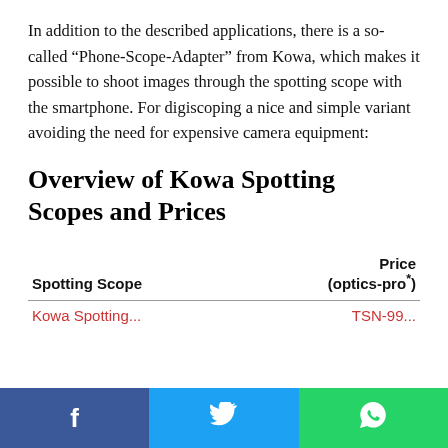In addition to the described applications, there is a so-called “Phone-Scope-Adapter” from Kowa, which makes it possible to shoot images through the spotting scope with the smartphone. For digiscoping a nice and simple variant avoiding the need for expensive camera equipment:
Overview of Kowa Spotting Scopes and Prices
| Spotting Scope | Price (optics-pro*) |
| --- | --- |
| Kowa Spotting... | TSN-99... |
[Figure (other): Social share bar at the bottom with Facebook (blue), Twitter (light blue), and WhatsApp (green) buttons]